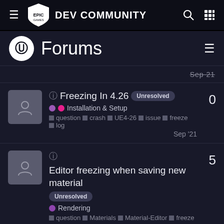Epic Games DEV COMMUNITY
Forums
Sep 21
Freezing In 4.26 Unresolved — Installation & Setup — question crash UE4-26 issue freeze log — Sep '21 — 0 replies
Editor freezing when saving new material Unresolved — Rendering — question Materials Material-Editor freeze — Sep '21 — 5 replies